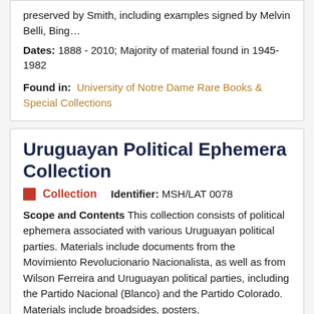preserved by Smith, including examples signed by Melvin Belli, Bing...
Dates: 1888 - 2010; Majority of material found in 1945-1982
Found in: University of Notre Dame Rare Books & Special Collections
Uruguayan Political Ephemera Collection
Collection   Identifier: MSH/LAT 0078
Scope and Contents This collection consists of political ephemera associated with various Uruguayan political parties. Materials include documents from the Movimiento Revolucionario Nacionalista, as well as from Wilson Ferreira and Uruguayan political parties, including the Partido Nacional (Blanco) and the Partido Colorado. Materials include broadsides, posters, newspaper/magazine articles, pamphlets, manifestos, manuals, speeches, presidential decrees and electoral propaganda